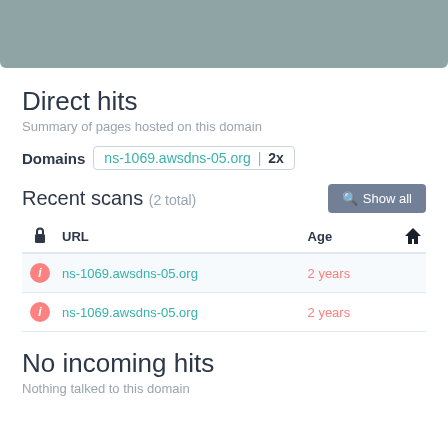[Figure (other): Gray rounded rectangle placeholder image at top of page]
Direct hits
Summary of pages hosted on this domain
Domains  ns-1069.awsdns-05.org | 2x
Recent scans (2 total)
| 🔒 | URL | Age | 🏠 |
| --- | --- | --- | --- |
| ℹ | ns-1069.awsdns-05.org | 2 years |  |
| ℹ | ns-1069.awsdns-05.org | 2 years |  |
No incoming hits
Nothing talked to this domain